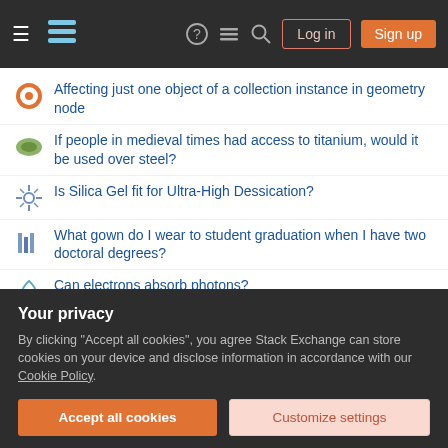Stack Exchange navigation bar with Log in and Sign up buttons
Affecting just one object of a collection instance in geometry node
If people in medieval times had access to titanium, would it be used over steel?
Is Silica Gel fit for Ultra-High Dessication?
What gown do I wear to student graduation when I have two doctoral degrees?
Can electrons absorb photons?
Do C compilers discard unused functions when statically linking to .a file?
How to restrict distortion along curve?
Who is providing the most unbiased news about the war in Ukraine
Your privacy
By clicking "Accept all cookies", you agree Stack Exchange can store cookies on your device and disclose information in accordance with our Cookie Policy.